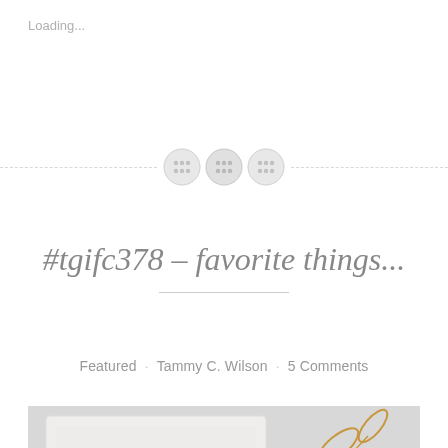Loading...
[Figure (illustration): Decorative divider with dashed lines and three button icons in the center]
#tgifc378 – favorite things...
Featured · Tammy C. Wilson · 5 Comments
[Figure (photo): Close-up photo of handmade greeting cards with gold and pink floral die-cut embellishments on white embossed card base, displayed on a light gray background]